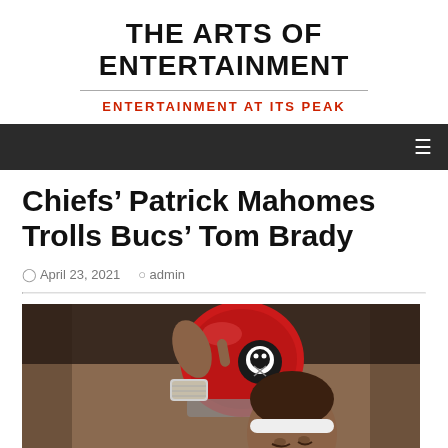THE ARTS OF ENTERTAINMENT
ENTERTAINMENT AT ITS PEAK
Chiefs' Patrick Mahomes Trolls Bucs' Tom Brady
April 23, 2021  admin
[Figure (photo): Close-up photo of Patrick Mahomes (Kansas City Chiefs) and Tom Brady (Tampa Bay Buccaneers) with a Buccaneers helmet visible, showing Mahomes pointing at Brady's helmet]